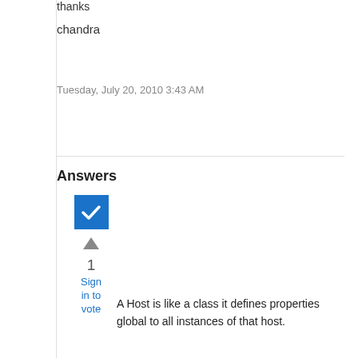thanks
chandra
Tuesday, July 20, 2010 3:43 AM
Answers
[Figure (other): Blue checkbox with white checkmark indicating accepted answer, upvote arrow, vote count 1, and Sign in to vote link]
A Host is like a class it defines properties global to all instances of that host.